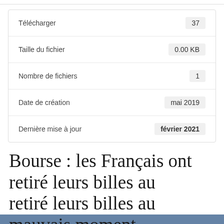| Label | Value |
| --- | --- |
| Télécharger | 37 |
| Taille du fichier | 0.00 KB |
| Nombre de fichiers | 1 |
| Date de création | mai 2019 |
| Dernière mise à jour | février 2021 |
Bourse : les Français ont retiré leurs billes au mauvais moment
En poursuivant votre navigation sur ce site, vous acceptez notre politique de confidentialité en général et l'utilisation de cookies en particulier.